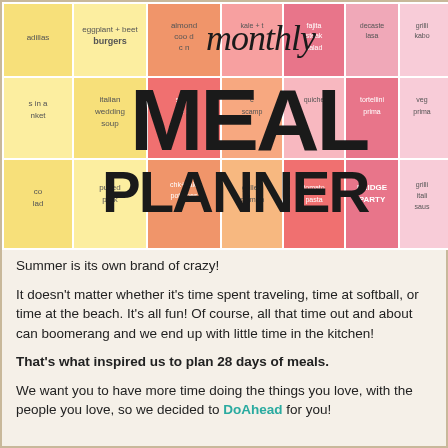[Figure (infographic): Monthly Meal Planner graphic with colorful grid of meal names (yellow, orange, salmon, pink cells) and large bold text overlay reading 'monthly MEAL PLANNER'. Meals visible include: eggplant beet burgers, almond cooked chicken, fajita steak salad, decadent lasagna, grilled kabobs, italian wedding soup, stuffed peppers, shrimp scampi, quiche, tortellini primavera, pulled pork, chicken kale potatoes, grilled salmon, tomato pasta, FRIDGE PARTY, grilled italian sausage, co salad, pigs in a blanket, quesadillas, vegetables in a blanket]
Summer is its own brand of crazy!
It doesn’t matter whether it’s time spent traveling, time at softball, or time at the beach. It’s all fun! Of course, all that time out and about can boomerang and we end up with little time in the kitchen!
That’s what inspired us to plan 28 days of meals.
We want you to have more time doing the things you love, with the people you love, so we decided to DoAhead for you!